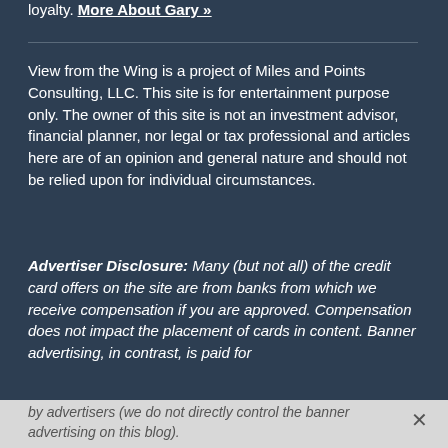loyalty. More About Gary »
View from the Wing is a project of Miles and Points Consulting, LLC. This site is for entertainment purpose only. The owner of this site is not an investment advisor, financial planner, nor legal or tax professional and articles here are of an opinion and general nature and should not be relied upon for individual circumstances.
Advertiser Disclosure: Many (but not all) of the credit card offers on the site are from banks from which we receive compensation if you are approved. Compensation does not impact the placement of cards in content. Banner advertising, in contrast, is paid for by advertisers (we do not directly control the banner advertising on this blog).